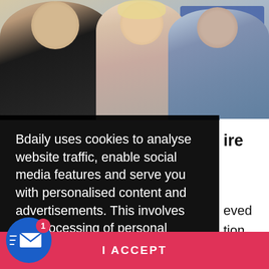[Figure (photo): Three people smiling for a photo — a man in a dark suit on the left, a blonde woman in the center, and a man in a blue shirt on the right, in an office/event setting with a blue display banner in the background.]
Bdaily uses cookies to analyse website traffic, enable social media features and serve you with personalised content and advertisements. This involves the processing of personal information including your IP address and browsing behaviour. For more information, please see our  Cookies Policy
ire
eved
tion
I ACCEPT